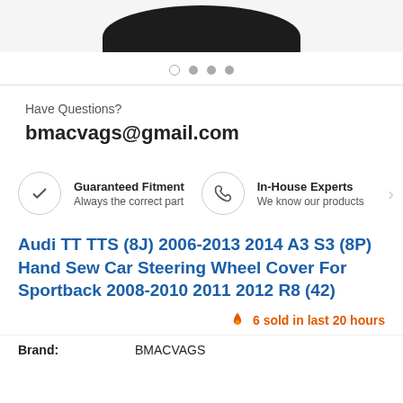[Figure (photo): Partial top view of a car steering wheel cover product in dark/black color, showing the curved top portion only]
Have Questions?
bmacvags@gmail.com
Guaranteed Fitment
Always the correct part
In-House Experts
We know our products
Audi TT TTS (8J) 2006-2013 2014 A3 S3 (8P) Hand Sew Car Steering Wheel Cover For Sportback 2008-2010 2011 2012 R8 (42)
6 sold in last 20 hours
Brand: BMACVAGS